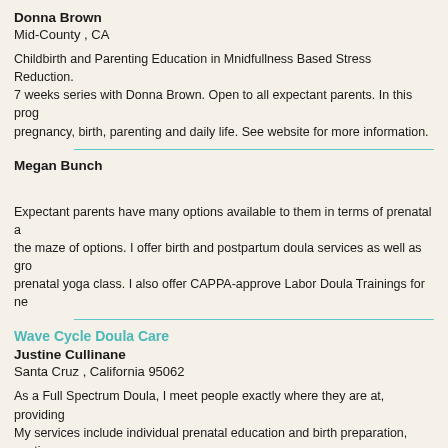Donna Brown
Mid-County , CA
Childbirth and Parenting Education in Mnidfullness Based Stress Reduction. 7 weeks series with Donna Brown. Open to all expectant parents. In this prog pregnancy, birth, parenting and daily life. See website for more information.
Megan Bunch
Expectant parents have many options available to them in terms of prenatal a the maze of options. I offer birth and postpartum doula services as well as gro prenatal yoga class. I also offer CAPPA-approve Labor Doula Trainings for ne
Wave Cycle Doula Care
Justine Cullinane
Santa Cruz , California 95062
As a Full Spectrum Doula, I meet people exactly where they are at, providing My services include individual prenatal education and birth preparation, contin newborn, new parent, and new family care throughout the postpartum period. My goal is for you to feel safe, heard, and held throughout any momentous re birth and postpartum clients for 2021. Feel free to reach out!